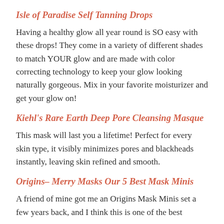Isle of Paradise Self Tanning Drops
Having a healthy glow all year round is SO easy with these drops! They come in a variety of different shades to match YOUR glow and are made with color correcting technology to keep your glow looking naturally gorgeous. Mix in your favorite moisturizer and get your glow on!
Kiehl's Rare Earth Deep Pore Cleansing Masque
This mask will last you a lifetime! Perfect for every skin type, it visibly minimizes pores and blackheads instantly, leaving skin refined and smooth.
Origins– Merry Masks Our 5 Best Mask Minis
A friend of mine got me an Origins Mask Minis set a few years back, and I think this is one of the best